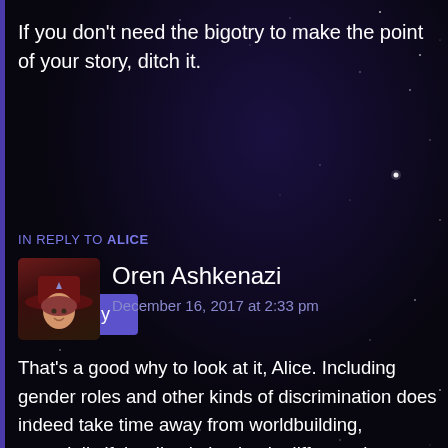If you don’t need the bigotry to make the point of your story, ditch it.
Reply
IN REPLY TO ALICE
Oren Ashkenazi
December 16, 2017 at 2:33 pm
That’s a good why to look at it, Alice. Including gender roles and other kinds of discrimination does indeed take time away from worldbuilding, especially if the discrimination is different than what we’re used to in the real world, like Branden